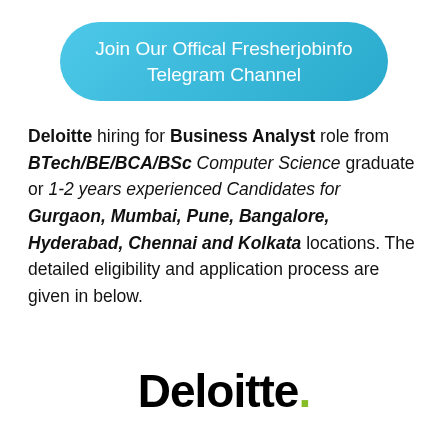Join Our Offical Fresherjobinfo Telegram Channel
Deloitte hiring for Business Analyst role from BTech/BE/BCA/BSc Computer Science graduate or 1-2 years experienced Candidates for Gurgaon, Mumbai, Pune, Bangalore, Hyderabad, Chennai and Kolkata locations. The detailed eligibility and application process are given in below.
[Figure (logo): Deloitte logo with green dot]